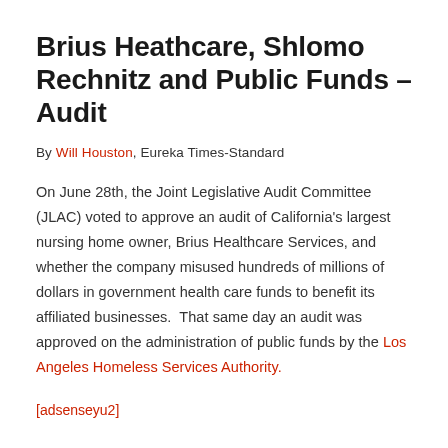Brius Heathcare, Shlomo Rechnitz and Public Funds – Audit
By Will Houston, Eureka Times-Standard
On June 28th, the Joint Legislative Audit Committee (JLAC) voted to approve an audit of California's largest nursing home owner, Brius Healthcare Services, and whether the company misused hundreds of millions of dollars in government health care funds to benefit its affiliated businesses.  That same day an audit was approved on the administration of public funds by the Los Angeles Homeless Services Authority.
[adsenseyu2]